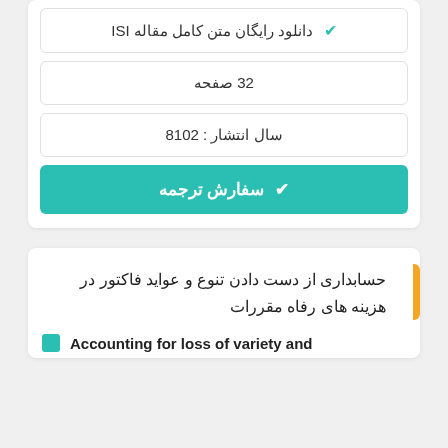✓ دانلود رایگان متن کامل مقاله ISI
23 صفحه
سال انتشار : 2018
✓ سفارش ترجمه
حسابداری از دست دادن تنوع و عواید فاکتور در هزینه های رفاه مقررات
Accounting for loss of variety and